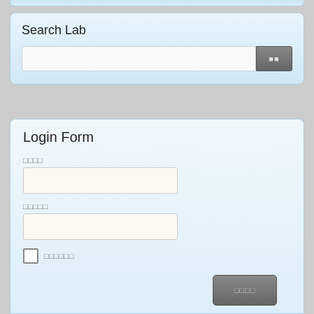Search Lab
Search input field with search button
Login Form
Label for username field (CJK characters)
Label for password field (CJK characters)
Remember me checkbox label (CJK characters)
Login button (CJK characters)
Link item 1 (CJK characters)
Link item 2 (CJK characters)
Bottom button (CJK characters)